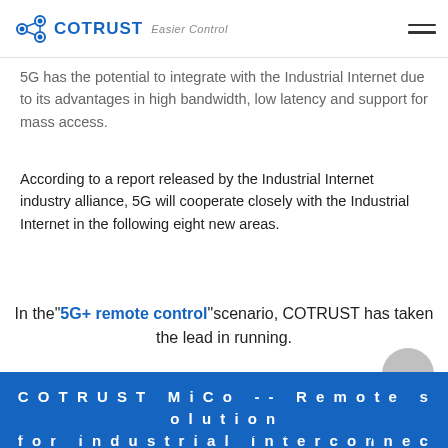COTRUST Easier Control
5G has the potential to integrate with the Industrial Internet due to its advantages in high bandwidth, low latency and support for mass access.
According to a report released by the Industrial Internet industry alliance, 5G will cooperate closely with the Industrial Internet in the following eight new areas.
In the "5G+ remote control" scenario, COTRUST has taken the lead in running.
COTRUST MiCo -- Remote solution for industrial Interconnection
MiCo, adopts dynamic data encryption mode, It is an open, stable and secure Internet of things platform. The industrial